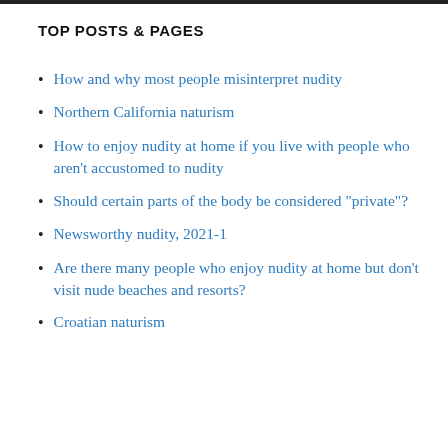TOP POSTS & PAGES
How and why most people misinterpret nudity
Northern California naturism
How to enjoy nudity at home if you live with people who aren't accustomed to nudity
Should certain parts of the body be considered "private"?
Newsworthy nudity, 2021-1
Are there many people who enjoy nudity at home but don't visit nude beaches and resorts?
Croatian naturism